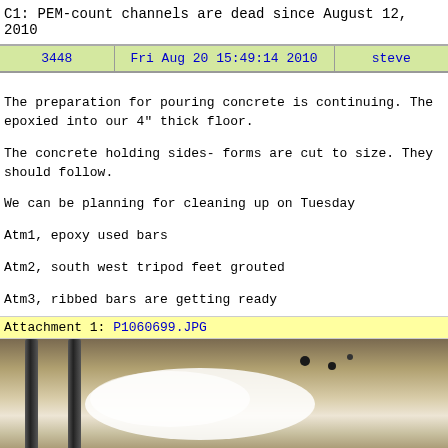C1: PEM-count channels are dead since August 12, 2010
| 3448 | Fri Aug 20 15:49:14 2010 | steve |
| --- | --- | --- |
The preparation for pouring concrete is continuing. The epoxied into our 4" thick floor.

The concrete holding sides- forms are cut to size. They should follow.

We can be planning for cleaning up on Tuesday

Atm1, epoxy used bars

Atm2, south west tripod feet grouted

Atm3, ribbed bars are getting ready
Attachment 1: P1060699.JPG
[Figure (photo): Close-up photo of concrete floor with steel rebar bars and white epoxy/grout material applied]